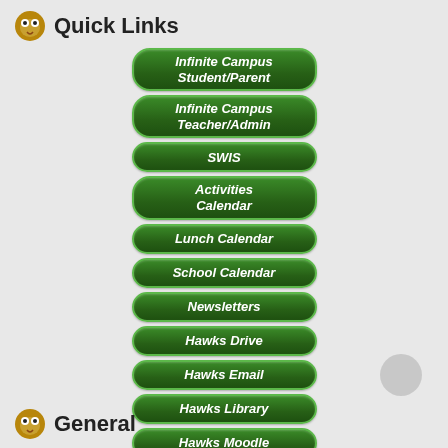Quick Links
Infinite Campus Student/Parent
Infinite Campus Teacher/Admin
SWIS
Activities Calendar
Lunch Calendar
School Calendar
Newsletters
Hawks Drive
Hawks Email
Hawks Library
Hawks Moodle
Counselor
Scholarships
Accelerated Reader Online
General